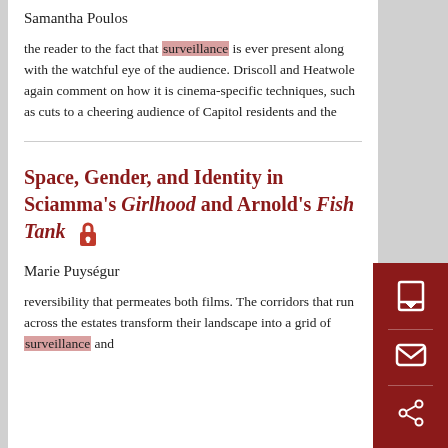Samantha Poulos
the reader to the fact that surveillance is ever present along with the watchful eye of the audience. Driscoll and Heatwole again comment on how it is cinema-specific techniques, such as cuts to a cheering audience of Capitol residents and the
Space, Gender, and Identity in Sciamma's Girlhood and Arnold's Fish Tank
Marie Puységur
reversibility that permeates both films. The corridors that run across the estates transform their landscape into a grid of surveillance and